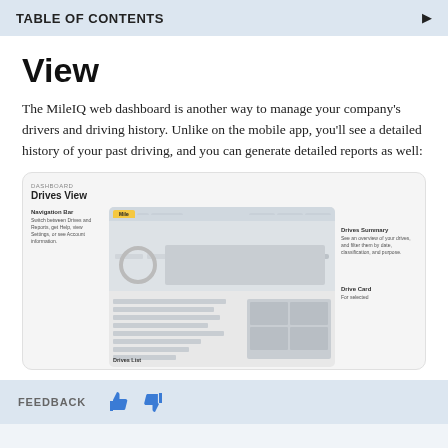TABLE OF CONTENTS ▶
View
The MileIQ web dashboard is another way to manage your company's drivers and driving history. Unlike on the mobile app, you'll see a detailed history of your past driving, and you can generate detailed reports as well:
[Figure (screenshot): Screenshot mockup of MileIQ web dashboard showing Drives View with Navigation Bar, Drives Summary, Drive Card, and Drives List annotations]
FEEDBACK 👍 👎